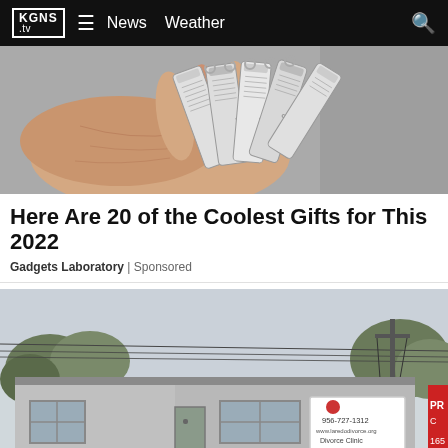KGNS .tv  ≡  News  Weather  🔍
[Figure (photo): Close-up photo of a hand holding multiple multi-tool key-shaped gadgets fanned out]
Here Are 20 of the Coolest Gifts for This 2022
Gadgets Laboratory | Sponsored
[Figure (photo): Exterior photo of a small single-story commercial building with a sign showing 956-727-1312 and Laredo clinic, with parking lot in foreground]